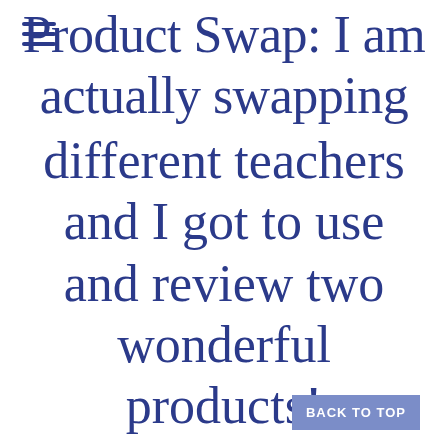Product Swap: I am actually swapping with two
different teachers and I got to use and review two wonderful products! Currently, I am a third grade Math and Science teacher at a Title I school. I need things that are cute, fun, interesting and help children {they are still only sweet little 8 year olds}